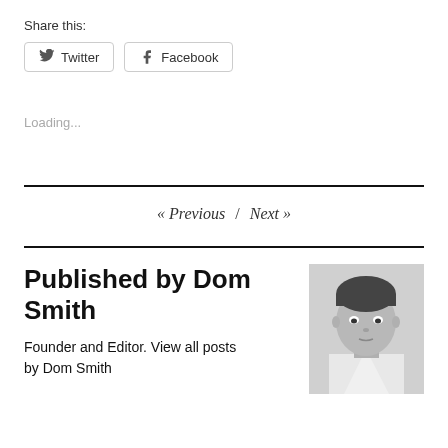Share this:
Twitter   Facebook
Loading...
« Previous  /  Next »
Published by Dom Smith
Founder and Editor. View all posts by Dom Smith
[Figure (photo): Black and white portrait photo of Dom Smith, a young man in a light-colored shirt]